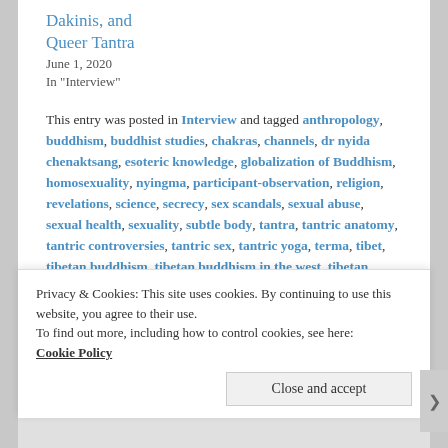Dakinis, and Queer Tantra
June 1, 2020
In "Interview"
This entry was posted in Interview and tagged anthropology, buddhism, buddhist studies, chakras, channels, dr nyida chenaktsang, esoteric knowledge, globalization of Buddhism, homosexuality, nyingma, participant-observation, religion, revelations, science, secrecy, sex scandals, sexual abuse, sexual health, sexuality, subtle body, tantra, tantric anatomy, tantric controversies, tantric sex, tantric yoga, terma, tibet, tibetan buddhism, tibetan buddhism in the west, tibetan medicine, treasure tradition, vajrayana, vajrayana tantra, western
Privacy & Cookies: This site uses cookies. By continuing to use this website, you agree to their use.
To find out more, including how to control cookies, see here: Cookie Policy
Close and accept